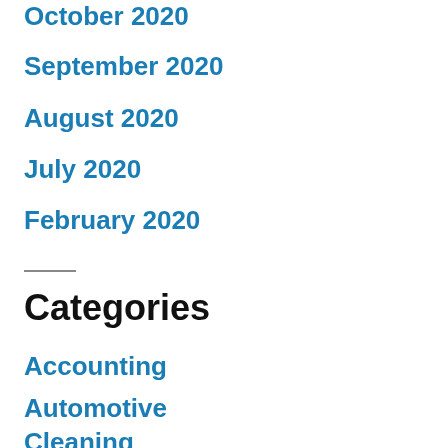October 2020
September 2020
August 2020
July 2020
February 2020
Categories
Accounting
Automotive
Cleaning